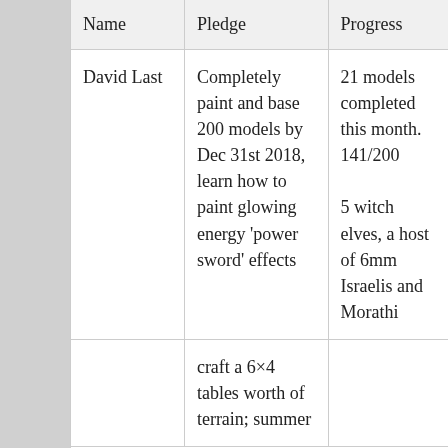| Name | Pledge | Progress |
| --- | --- | --- |
| David Last | Completely paint and base 200 models by Dec 31st 2018, learn how to paint glowing energy 'power sword' effects | 21 models completed this month. 141/200

5 witch elves, a host of 6mm Israelis and Morathi |
|  | craft a 6×4 tables worth of terrain; summer |  |